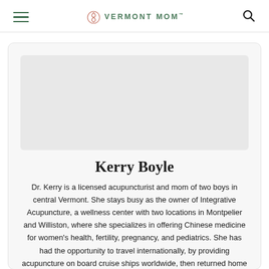VERMONT MOM
Kerry Boyle
Dr. Kerry is a licensed acupuncturist and mom of two boys in central Vermont. She stays busy as the owner of Integrative Acupuncture, a wellness center with two locations in Montpelier and Williston, where she specializes in offering Chinese medicine for women's health, fertility, pregnancy, and pediatrics. She has had the opportunity to travel internationally, by providing acupuncture on board cruise ships worldwide, then returned home to Vermont to raise her two boys. Kerry loves to play volleyball with her